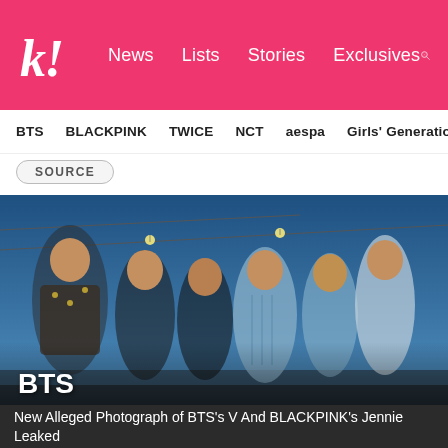k! News Lists Stories Exclusives
BTS BLACKPINK TWICE NCT aespa Girls' Generation
SOURCE
[Figure (photo): BTS group photo with seven members posed outdoors against a blue sky with string lights. Members wearing various outfits. 'BTS' text label overlaid in bottom left corner.]
New Alleged Photograph of BTS's V And BLACKPINK's Jennie Leaked